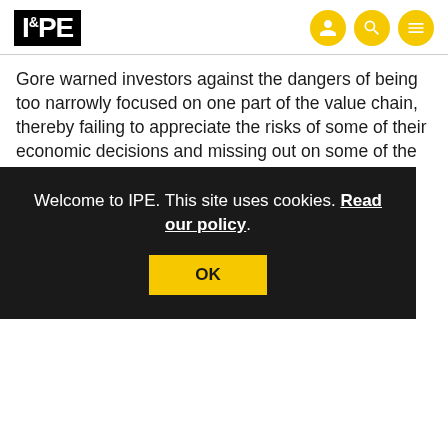IPE
Gore warned investors against the dangers of being too narrowly focused on one part of the value chain, thereby failing to appreciate the risks of some of their economic decisions and missing out on some of the opportunities that were rapidly emerging from the unprecedented changes that were underway.
H co in (E
Welcome to IPE. This site uses cookies. Read our policy.
OK
Gore turned to poetry to drive home his concluding remarks. He said some people still believed there was not the political will to solve the climate crisis, and